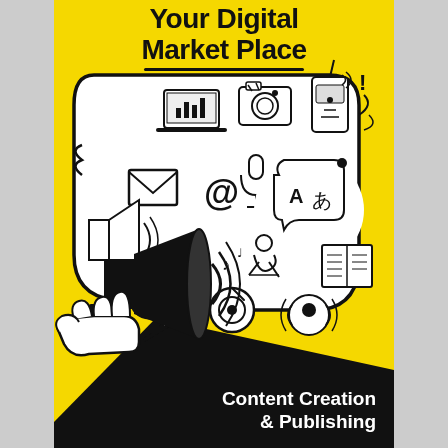Your Digital Market Place
[Figure (illustration): Speech bubble illustration on yellow background containing icons for digital media: laptop with chart, camera, walkie-talkie, email envelope, at-sign, microphone, speech bubble with 'A' and Japanese character, megaphone/speaker, pencil, music notes, checkmark, magnifying glass, target/bullseye, radio waves/person icon, book/newspaper icon. A hand holding a megaphone at the bottom left.]
Content Creation & Publishing